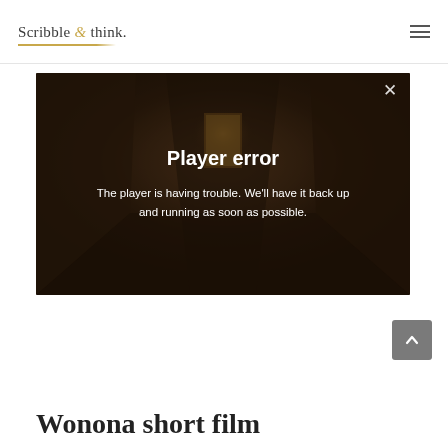Scribble & think.
[Figure (screenshot): Video player showing a dark hallway corridor scene with a 'Player error' overlay message. The overlay displays: 'Player error' as a bold title and 'The player is having trouble. We'll have it back up and running as soon as possible.' A close (X) button is shown in the top right of the player.]
Wonona short film